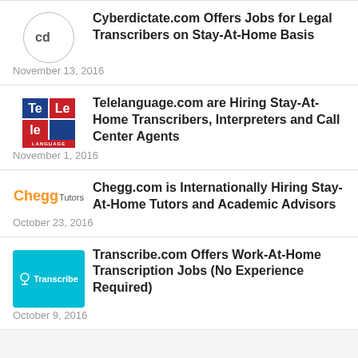Cyberdictate.com Offers Jobs for Legal Transcribers on Stay-At-Home Basis
Telelanguage.com are Hiring Stay-At-Home Transcribers, Interpreters and Call Center Agents
Chegg.com is Internationally Hiring Stay-At-Home Tutors and Academic Advisors
Transcribe.com Offers Work-At-Home Transcription Jobs (No Experience Required)